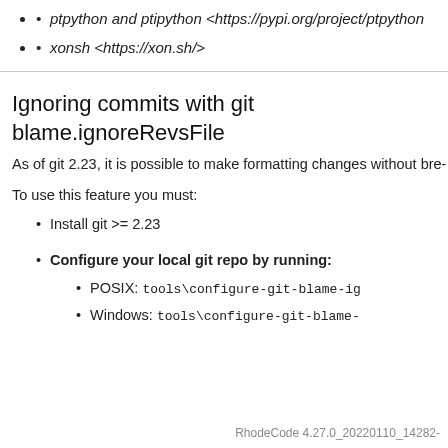ptpython and ptipython <https://pypi.org/project/ptpython>
xonsh <https://xon.sh/>
Ignoring commits with git blame.ignoreRevsFile
As of git 2.23, it is possible to make formatting changes without bre-
To use this feature you must:
Install git >= 2.23
Configure your local git repo by running:
POSIX: tools\configure-git-blame-ig
Windows: tools\configure-git-blame-
RhodeCode 4.27.0_20220110_14282-